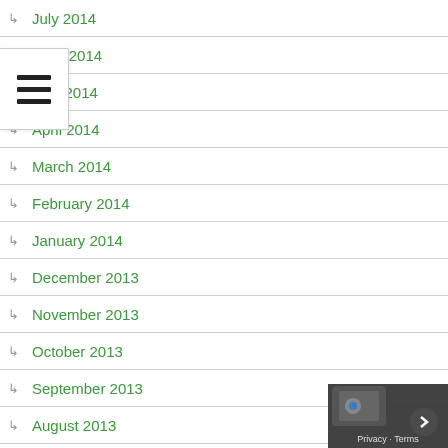July 2014
June 2014
May 2014
April 2014
March 2014
February 2014
January 2014
December 2013
November 2013
October 2013
September 2013
August 2013
July 2013
June 2013
May 2013
April 2013
March 2013
February 2013
January 2013
December 2012
November 2012
October 2012